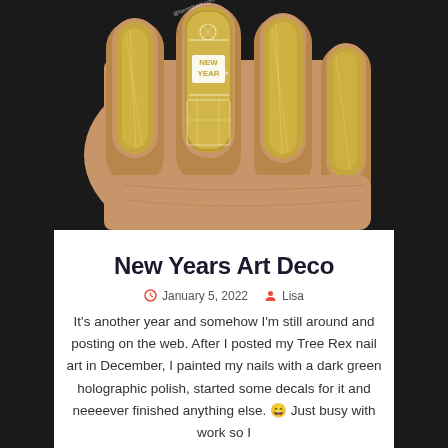[Figure (photo): Close-up photo of a hand with golden holographic nail polish and a New Year themed nail art stamp/decal on the middle finger showing 'NEW YEAR' text with decorative Art Deco patterns in white on gold]
New Years Art Deco
January 5, 2022  Lisa
It's another year and somehow I'm still around and posting on the web. After I posted my Tree Rex nail art in December, I painted my nails with a dark green holographic polish, started some decals for it and neeeever finished anything else. 😄 Just busy with work so I